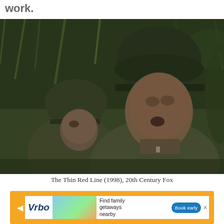work.
[Figure (photo): Two soldiers in WWII-era helmets and olive drab uniforms crouching in dense jungle vegetation, from The Thin Red Line (1998)]
The Thin Red Line (1998), 20th Century Fox
[Figure (screenshot): Vrbo advertisement banner: 'Find family getaways nearby' with Book early button, orange border frame]